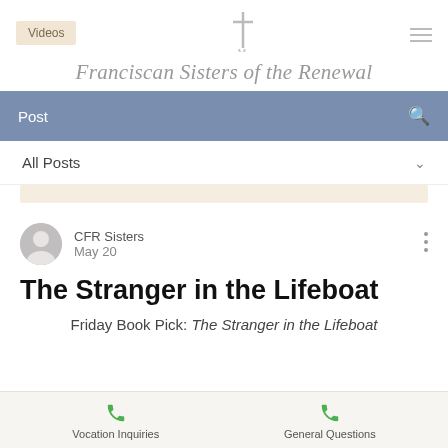Videos | Franciscan Sisters of the Renewal
Post
All Posts
CFR Sisters
May 20
The Stranger in the Lifeboat
Friday Book Pick: The Stranger in the Lifeboat
Vocation Inquiries | General Questions